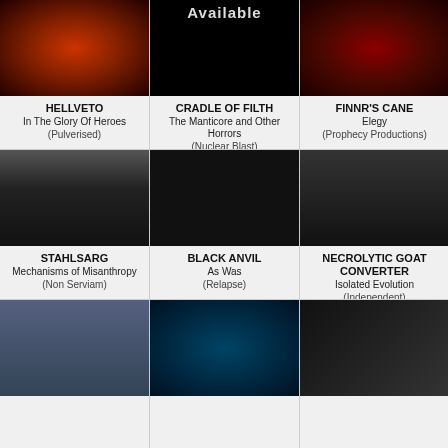[Figure (photo): Album art for HELLVETO - fiery red/orange explosion on dark background]
HELLVETO
In The Glory Of Heroes
(Pulverised)
[Figure (photo): Album art for CRADLE OF FILTH - black background with 'Available' text]
CRADLE OF FILTH
The Manticore and Other Horrors
(Nuclear Blast)
[Figure (photo): Album art for FINNR'S CANE - dark red/orange ethereal art]
FINNR'S CANE
Elegy
(Prophecy Productions)
[Figure (photo): Album art for STAHLSARG - dark gothic architecture with pillars and light]
STAHLSARG
Mechanisms of Misanthropy
(Non Serviam)
[Figure (photo): Album art for BLACK ANVIL - black background with golden occult symbol/sigil]
BLACK ANVIL
As Was
(Relapse)
[Figure (photo): Album art for NECROLYTIC GOAT CONVERTER - dark faces art]
NECROLYTIC GOAT CONVERTER
Isolated Evolution
(Independent)
[Figure (photo): Album art for SOJOURNER - dark castle/landscape]
[Figure (photo): Album art for DIMMU BORGIR - dark blue teal art]
[Figure (photo): Album art for ENIGMAS - dark monochrome art]